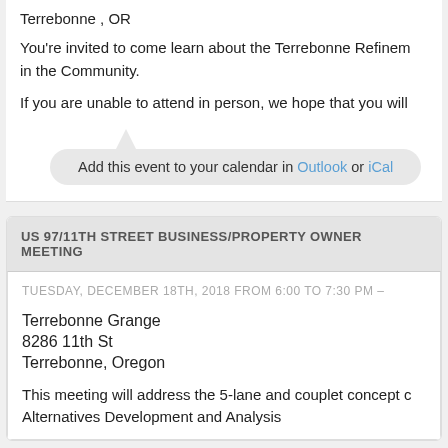Terrebonne , OR
You're invited to come learn about the Terrebonne Refinement in the Community.
If you are unable to attend in person, we hope that you will
Add this event to your calendar in Outlook or iCal
US 97/11TH STREET BUSINESS/PROPERTY OWNER MEETING
TUESDAY, DECEMBER 18TH, 2018 FROM 6:00 TO 7:30 PM –
Terrebonne Grange
8286 11th St
Terrebonne, Oregon
This meeting will address the 5-lane and couplet concept Alternatives Development and Analysis